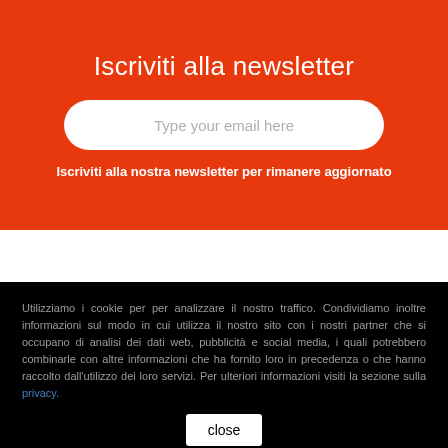Iscriviti alla newsletter
[Figure (other): Email input field with placeholder text 'Type your email here', white rounded rectangle on orange background]
Iscriviti alla nostra newsletter per rimanere aggiornato
Utilizziamo i cookie per per analizzare il nostro traffico. Condividiamo inoltre informazioni sul modo in cui utilizza il nostro sito con i nostri partner che si occupano di analisi dei dati web, pubblicità e social media, i quali potrebbero combinarle con altre informazioni che ha fornito loro in precedenza o che hanno raccolto dall'utilizzo dei loro servizi. Per ulteriori informazioni visiti la sezione sulla privacy.
close